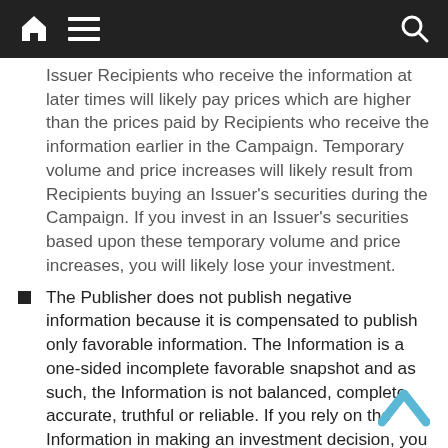[navigation bar with home, menu, and search icons]
Issuer Recipients who receive the information at later times will likely pay prices which are higher than the prices paid by Recipients who receive the information earlier in the Campaign. Temporary volume and price increases will likely result from Recipients buying an Issuer's securities during the Campaign. If you invest in an Issuer's securities based upon these temporary volume and price increases, you will likely lose your investment.
The Publisher does not publish negative information because it is compensated to publish only favorable information. The Information is a one-sided incomplete favorable snapshot and as such, the Information is not balanced, complete, accurate, truthful or reliable. If you rely on the Information in making an investment decision, you will likely lose your investment.
The Information does not include the information necessary to make an informed